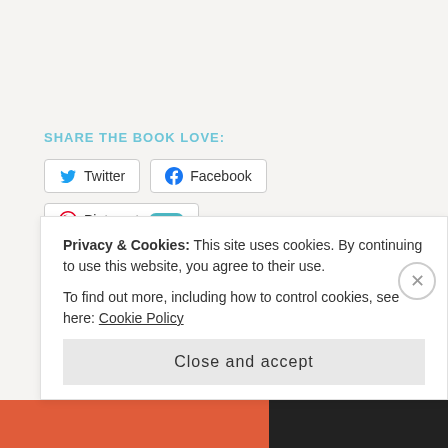SHARE THE BOOK LOVE:
Twitter  Facebook  Pinterest 8K+
[Figure (other): Like button and 8 blogger avatars with '8 bloggers like this.' text]
Posted in Ink Splatter
Tagged author, Ink Splatter, romance prompt, writer, writing, writing prompt
Privacy & Cookies: This site uses cookies. By continuing to use this website, you agree to their use.
To find out more, including how to control cookies, see here: Cookie Policy
Close and accept